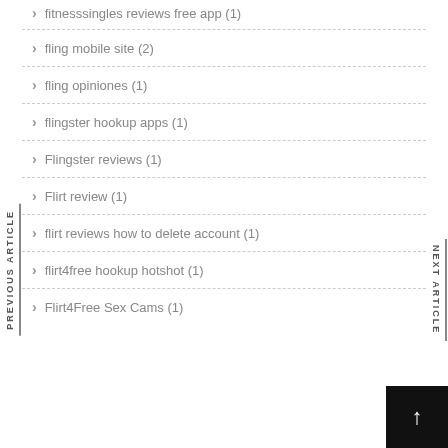fitnesssingles reviews free app (1)
fling mobile site (2)
fling opiniones (1)
flingster hookup apps (1)
Flingster reviews (1)
Flirt review (1)
flirt reviews how to delete account (1)
flirt4free hookup hotshot (1)
Flirt4Free Sex Cams (1)